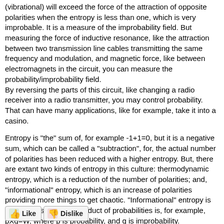(vibrational) will exceed the force of the attraction of opposite polarities when the entropy is less than one, which is very improbable. It is a measure of the improbability field. But measuring the force of inductive resonance, like the attraction between two transmission line cables transmitting the same frequency and modulation, and magnetic force, like between electromagnets in the circuit, you can measure the probability/improbability field.
By reversing the parts of this circuit, like changing a radio receiver into a radio transmitter, you may control probability. That can have many applications, like for example, take it into a casino.
Entropy is "the" sum of, for example -1+1=0, but it is a negative sum, which can be called a "subtraction", for, the actual number of polarities has been reduced with a higher entropy. But, there are extant two kinds of entropy in this culture: thermodynamic entropy, which is a reduction of the number of polarities; and, "informational" entropy, which is an increase of polarities providing more things to get chaotic. "Informational" entropy is more chaos. "The", a product of probabilities is, for example, pXq=W, where p is probability, and q is improbability.
[Figure (other): Like and Dislike buttons with thumbs up (green) and thumbs down (red) icons]